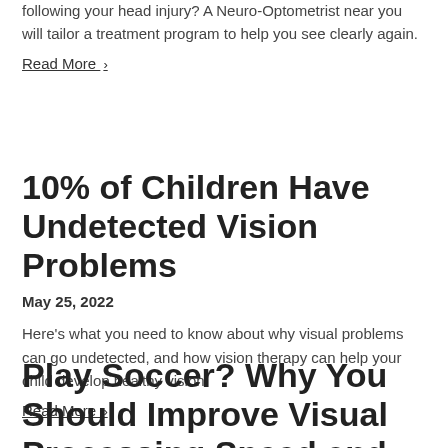following your head injury? A Neuro-Optometrist near you will tailor a treatment program to help you see clearly again.
Read More ›
10% of Children Have Undetected Vision Problems
May 25, 2022
Here's what you need to know about why visual problems can go undetected, and how vision therapy can help your child develop healthy vision.
Read More ›
Play Soccer? Why You Should Improve Visual Processing Speed and Eye-Body Coordination